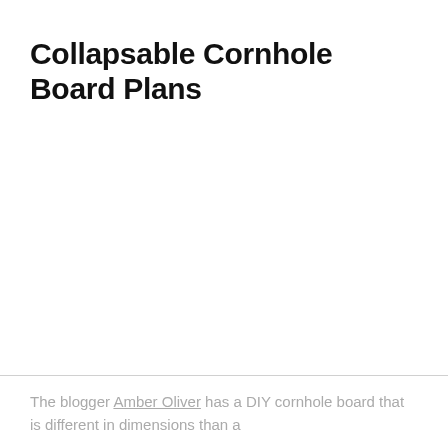Collapsable Cornhole Board Plans
The blogger Amber Oliver has a DIY cornhole board that is different in dimensions than a